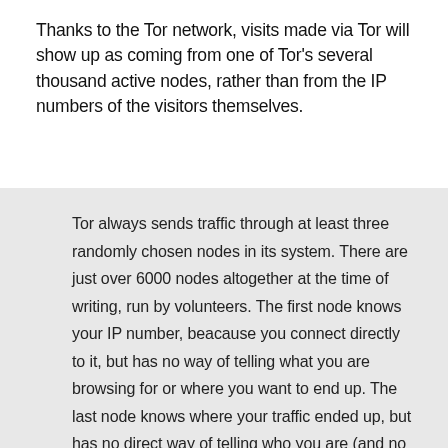Thanks to the Tor network, visits made via Tor will show up as coming from one of Tor's several thousand active nodes, rather than from the IP numbers of the visitors themselves.
Tor always sends traffic through at least three randomly chosen nodes in its system. There are just over 6000 nodes altogether at the time of writing, run by volunteers. The first node knows your IP number, beacause you connect directly to it, but has no way of telling what you are browsing for or where you want to end up. The last node knows where your traffic ended up, but has no direct way of telling who you are (and no way, if the destination server is itself part of the Tor network, of knowing where you were going or what you were looking for). The middle node effectively serves to keep the